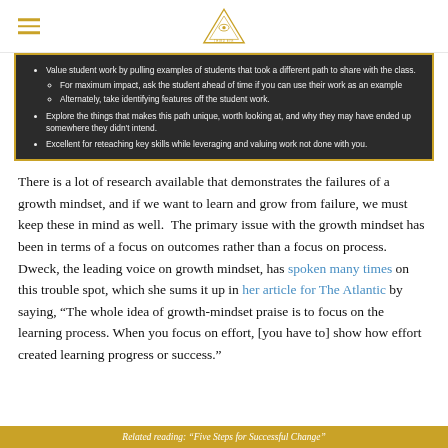Third Eye Educating logo and navigation
Value student work by pulling examples of students that took a different path to share with the class.
For maximum impact, ask the student ahead of time if you can use their work as an example
Alternately, take identifying features off the student work.
Explore the things that makes this path unique, worth looking at, and why they may have ended up somewhere they didn't intend.
Excellent for reteaching key skills while leveraging and valuing work not done with you.
There is a lot of research available that demonstrates the failures of a growth mindset, and if we want to learn and grow from failure, we must keep these in mind as well. The primary issue with the growth mindset has been in terms of a focus on outcomes rather than a focus on process. Dweck, the leading voice on growth mindset, has spoken many times on this trouble spot, which she sums it up in her article for The Atlantic by saying, “The whole idea of growth-mindset praise is to focus on the learning process. When you focus on effort, [you have to] show how effort created learning progress or success.”
Related reading: “Five Steps for Successful Change”